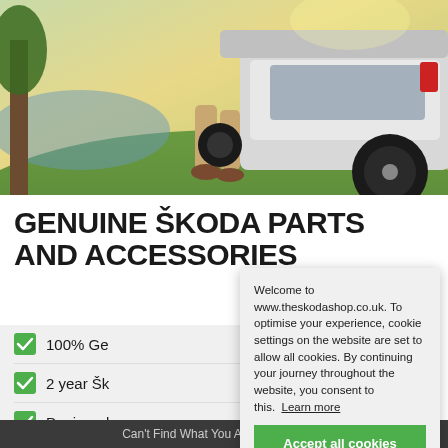[Figure (photo): Person loading a tyre into the boot of a white SUV parked on grass near water, sunny outdoor scene]
GENUINE ŠKODA PARTS AND ACCESSORIES
100% Ge[nuine Škoda parts]
2 year Šk[oda warranty]
Designed[...]
Welcome to www.theskodashop.co.uk. To optimise your experience, cookie settings on the website are set to allow all cookies. By continuing your journey throughout the website, you consent to this. Learn more
Accept all cookies
Can't Find What You Are Looking For?